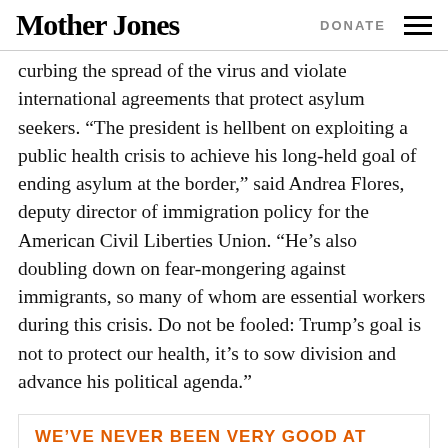Mother Jones | DONATE
curbing the spread of the virus and violate international agreements that protect asylum seekers. “The president is hellbent on exploiting a public health crisis to achieve his long-held goal of ending asylum at the border,” said Andrea Flores, deputy director of immigration policy for the American Civil Liberties Union. “He’s also doubling down on fear-mongering against immigrants, so many of whom are essential workers during this crisis. Do not be fooled: Trump’s goal is not to protect our health, it’s to sow division and advance his political agenda.”
WE’VE NEVER BEEN VERY GOOD AT